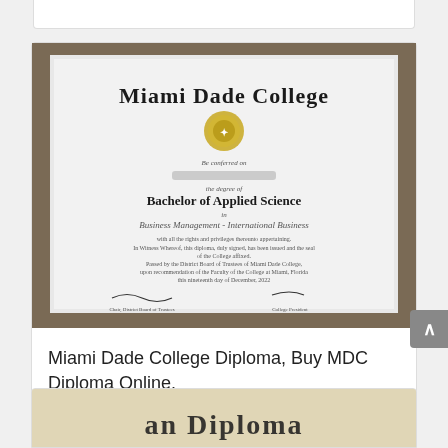[Figure (photo): Photo of a Miami Dade College diploma showing 'Bachelor of Applied Science' degree in 'Business Management - International Business', with college seal and signatures.]
Miami Dade College Diploma, Buy MDC Diploma Online.
[Figure (photo): Partial image of another diploma at bottom of page, showing ornate Old English text.]